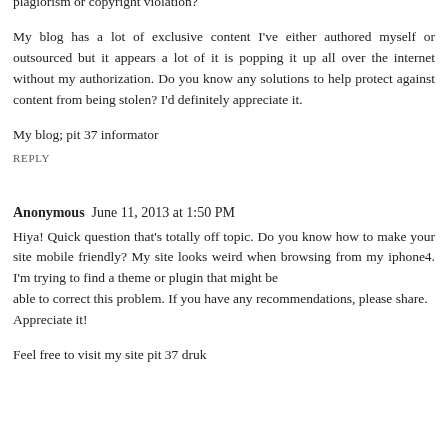plagiorism or copyright violation?
My blog has a lot of exclusive content I've either authored myself or outsourced but it appears a lot of it is popping it up all over the internet without my authorization. Do you know any solutions to help protect against content from being stolen? I'd definitely appreciate it.
My blog; pit 37 informator
REPLY
Anonymous  June 11, 2013 at 1:50 PM
Hiya! Quick question that's totally off topic. Do you know how to make your site mobile friendly? My site looks weird when browsing from my iphone4. I'm trying to find a theme or plugin that might be able to correct this problem. If you have any recommendations, please share.
Appreciate it!
Feel free to visit my site pit 37 druk